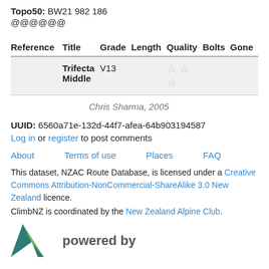Topo50: BW21 982 186
@@@@@@
| Reference | Title | Grade | Length | Quality | Bolts | Gone |
| --- | --- | --- | --- | --- | --- | --- |
|  | Trifecta Middle | V13 |  | ☆☆
☆ |  |  |
Chris Sharma, 2005
UUID: 6560a71e-132d-44f7-afea-64b903194587
Log in or register to post comments
About   Terms of use   Places   FAQ
This dataset, NZAC Route Database, is licensed under a Creative Commons Attribution-NonCommercial-ShareAlike 3.0 New Zealand licence.
ClimbNZ is coordinated by the New Zealand Alpine Club.
[Figure (logo): NZAC logo (teal and green arrow/mountain shape) with 'powered by' text]